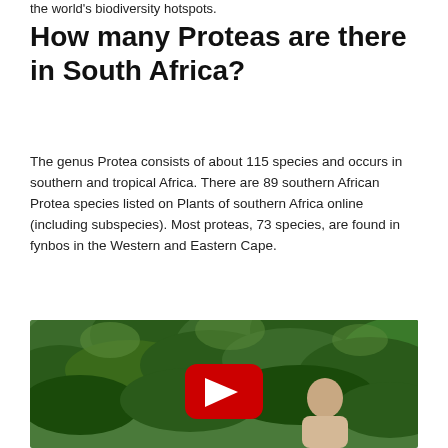the world's biodiversity hotspots.
How many Proteas are there in South Africa?
The genus Protea consists of about 115 species and occurs in southern and tropical Africa. There are 89 southern African Protea species listed on Plants of southern Africa online (including subspecies). Most proteas, 73 species, are found in fynbos in the Western and Eastern Cape.
[Figure (screenshot): YouTube video thumbnail showing a man outdoors in front of dense green foliage, with a red YouTube play button overlay in the center.]